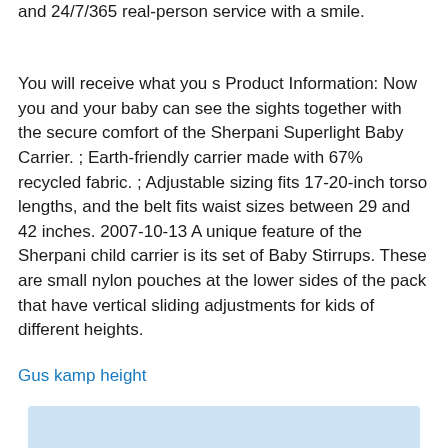and 24/7/365 real-person service with a smile.
You will receive what you s Product Information: Now you and your baby can see the sights together with the secure comfort of the Sherpani Superlight Baby Carrier. ; Earth-friendly carrier made with 67% recycled fabric. ; Adjustable sizing fits 17-20-inch torso lengths, and the belt fits waist sizes between 29 and 42 inches. 2007-10-13 A unique feature of the Sherpani child carrier is its set of Baby Stirrups. These are small nylon pouches at the lower sides of the pack that have vertical sliding adjustments for kids of different heights.
Gus kamp height